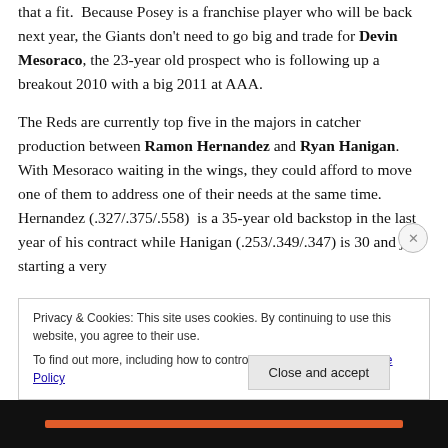that a fit.  Because Posey is a franchise player who will be back next year, the Giants don't need to go big and trade for Devin Mesoraco, the 23-year old prospect who is following up a breakout 2010 with a big 2011 at AAA.
The Reds are currently top five in the majors in catcher production between Ramon Hernandez and Ryan Hanigan.  With Mesoraco waiting in the wings, they could afford to move one of them to address one of their needs at the same time.  Hernandez (.327/.375/.558)  is a 35-year old backstop in the last year of his contract while Hanigan (.253/.349/.347) is 30 and just starting a very
Privacy & Cookies: This site uses cookies. By continuing to use this website, you agree to their use.
To find out more, including how to control cookies, see here: Cookie Policy
Close and accept